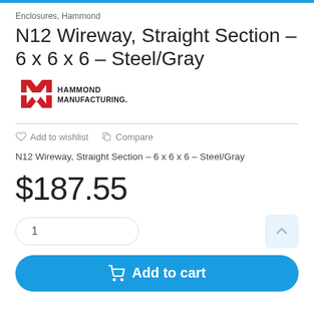Enclosures, Hammond
N12 Wireway, Straight Section – 6 x 6 x 6 – Steel/Gray
[Figure (logo): Hammond Manufacturing logo — red stylized M/W lettermark with 'HAMMOND MANUFACTURING.' text]
Add to wishlist   Compare
N12 Wireway, Straight Section – 6 x 6 x 6 – Steel/Gray
$187.55
1
Add to cart